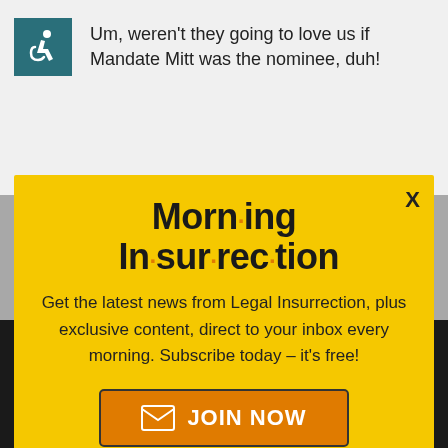[Figure (screenshot): Accessibility icon (wheelchair symbol) in teal square]
Um, weren't they going to love us if Mandate Mitt was the nominee, duh!
[Figure (infographic): Morning Insurrection popup/modal with yellow background. Title: 'Morn·ing In·sur·rec·tion'. Body text: 'Get the latest news from Legal Insurrection, plus exclusive content, direct to your inbox every morning. Subscribe today – it's free!' with a JOIN NOW button.]
[Figure (screenshot): Bottom dark bar with fiverr logo and Start Now green button, and 'No doubt Cicilline is a liar and deserves' text, back to top link, and X close button]